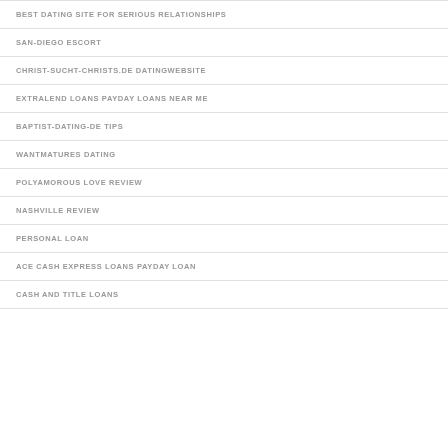BEST DATING SITE FOR SERIOUS RELATIONSHIPS
SAN-DIEGO ESCORT
CHRIST-SUCHT-CHRISTS.DE DATINGWEBSITE
EXTRALEND LOANS PAYDAY LOANS NEAR ME
BAPTIST-DATING-DE TIPS
WANTMATURES DATING
POLYAMOROUS LOVE REVIEW
NASHVILLE REVIEW
PERSONAL LOAN
ACE CASH EXPRESS LOANS PAYDAY LOAN
CASH AND TITLE LOANS